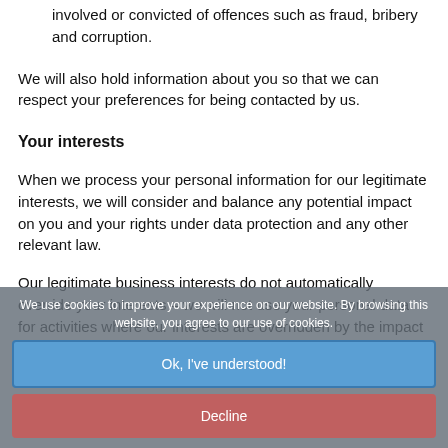involved or convicted of offences such as fraud, bribery and corruption.
We will also hold information about you so that we can respect your preferences for being contacted by us.
Your interests
When we process your personal information for our legitimate interests, we will consider and balance any potential impact on you and your rights under data protection and any other relevant law.
Our legitimate business interests do not automatically override your interests – we will not use your personal data for activities where our interests are overridden by the impact on you (unless we have your consent or are otherwise required or permitted to by law).
We use cookies to improve your experience on our website. By browsing this website, you agree to our use of cookies.
Ok, I've understood!
Decline